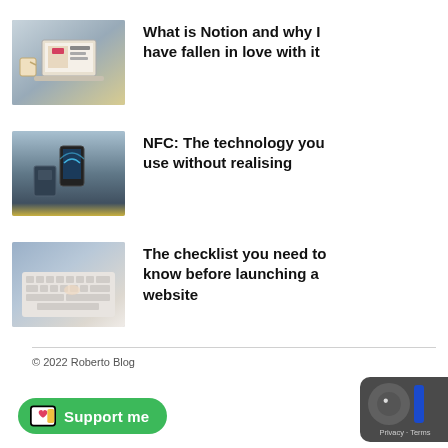[Figure (photo): Thumbnail of a person using a laptop and tablet, representing Notion app article]
What is Notion and why I have fallen in love with it
[Figure (photo): Thumbnail of a person tapping a phone on an NFC payment terminal]
NFC: The technology you use without realising
[Figure (photo): Thumbnail of hands typing on a white keyboard, representing website launch checklist article]
The checklist you need to know before launching a website
© 2022 Roberto Blog
[Figure (logo): Support me button with Ko-fi icon, green rounded button]
[Figure (logo): Cookie consent dark widget with moon icon showing Privacy - Terms]